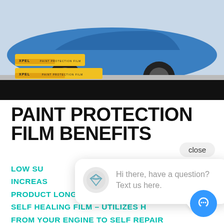[Figure (photo): Hero image of a blue sports car with XPEL paint protection film boxes in yellow packaging in the foreground, with a dark bar at bottom]
PAINT PROTECTION FILM BENEFITS
LOW SU...
INCREAS...
PRODUCT LONGEVITY
SELF HEALING FILM – UTILIZES H...
FROM YOUR ENGINE TO SELF REPAIR
[Figure (screenshot): Chat widget overlay showing a speech bubble with avatar icon and text 'Hi there, have a question? Text us here.' with a close button and blue circular chat FAB button]